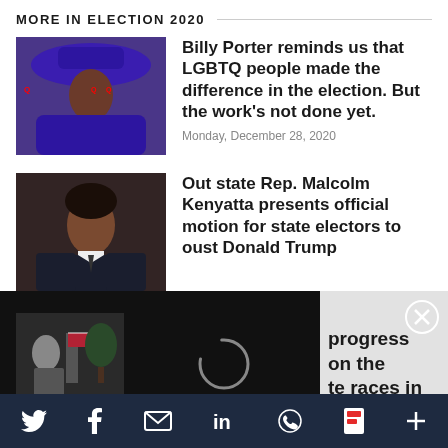MORE IN ELECTION 2020
[Figure (photo): Person wearing a large purple wide-brim hat and purple outfit]
Billy Porter reminds us that LGBTQ people made the difference in the election. But the work's not done yet.
Monday, December 28, 2020
[Figure (photo): Young Black man in a suit looking to the side]
Out state Rep. Malcolm Kenyatta presents official motion for state electors to oust Donald Trump
[Figure (screenshot): Video player overlay with loading spinner, pause button, mute button, and close X button. Partial text visible: 'progress on the te races in']
Social share bar: Twitter, Facebook, Email, LinkedIn, WhatsApp, Flipboard, More